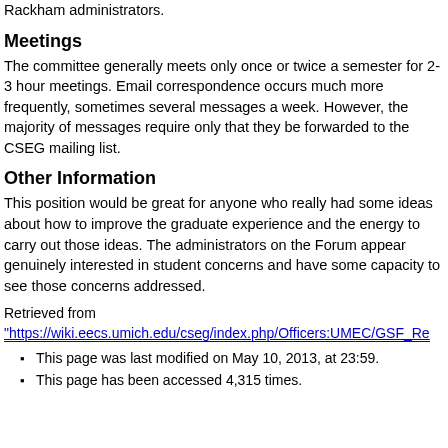Rackham administrators.
Meetings
The committee generally meets only once or twice a semester for 2-3 hour meetings. Email correspondence occurs much more frequently, sometimes several messages a week. However, the majority of messages require only that they be forwarded to the CSEG mailing list.
Other Information
This position would be great for anyone who really had some ideas about how to improve the graduate experience and the energy to carry out those ideas. The administrators on the Forum appear genuinely interested in student concerns and have some capacity to see those concerns addressed.
Retrieved from
"https://wiki.eecs.umich.edu/cseg/index.php/Officers:UMEC/GSF_Re
This page was last modified on May 10, 2013, at 23:59.
This page has been accessed 4,315 times.